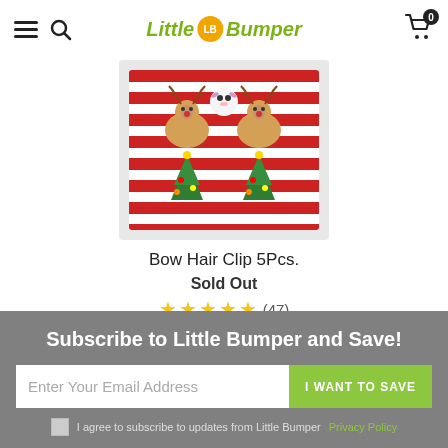Little LB Bumper [logo] | Cart (0)
[Figure (photo): Product photo of Bow Hair Clip 5Pcs. showing Christmas-themed hair clips with reindeer and Christmas tree designs on a red striped background.]
Bow Hair Clip 5Pcs.
Sold Out
★★★★★ (47)
Subscribe to Little Bumper and Save!
Enter Your Email Address
I WANT TO SAVE
I agree to subscribe to updates from Little Bumper  Privacy Policy